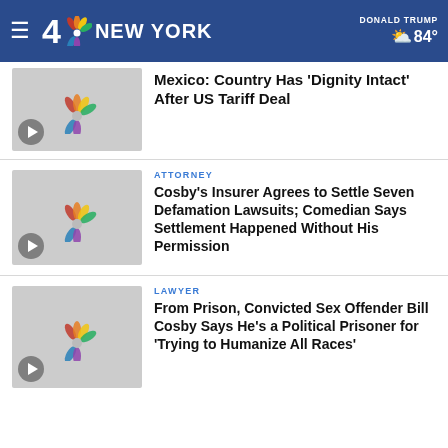NBC 4 New York | DONALD TRUMP | 84°
[Figure (screenshot): Video thumbnail with NBC peacock logo on gray background, play button]
Mexico: Country Has 'Dignity Intact' After US Tariff Deal
[Figure (screenshot): Video thumbnail with NBC peacock logo on gray background, play button]
ATTORNEY
Cosby's Insurer Agrees to Settle Seven Defamation Lawsuits; Comedian Says Settlement Happened Without His Permission
[Figure (screenshot): Video thumbnail with NBC peacock logo on gray background, play button]
LAWYER
From Prison, Convicted Sex Offender Bill Cosby Says He's a Political Prisoner for 'Trying to Humanize All Races'